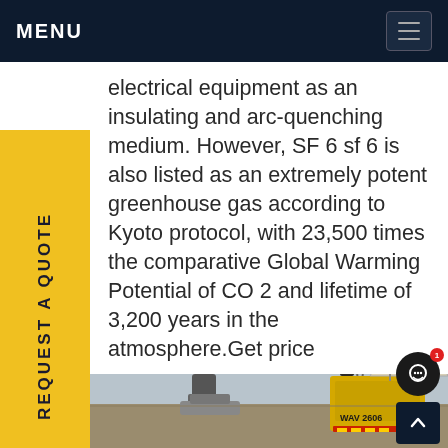MENU
electrical equipment as an insulating and arc-quenching medium. However, SF 6 sf 6 is also listed as an extremely potent greenhouse gas according to Kyoto protocol, with 23,500 times the comparative Global Warming Potential of CO 2 and lifetime of 3,200 years in the atmosphere.Get price
[Figure (photo): Electrical substation with high-voltage transmission lines, insulators, transformers, and yellow utility construction vehicles including one marked WAV 2606. Overhead power lines and steel transmission towers visible against sky.]